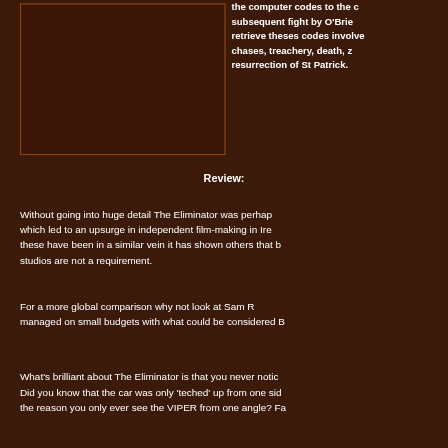[Figure (other): Dark brown rectangular image placeholder box with thin border]
the computer codes to the c subsequent fight by O'Brie retrieve theses codes involve chases, treachery, death, z resurrection of St Patrick.
Review:
Without going into huge detail The Eliminator was perhap which led to an upsurge in independent film-making in Ire these have been in a similar vein it has shown others that b studios are not a requirement.
For a more global comparison why not look at Sam R managed on small budgets with what could be considered B
What's brilliant about The Eliminator is that you never notic Did you know that the car was only 'teched' up from one sid the reason you only ever see the VIPER from one angle? Fa